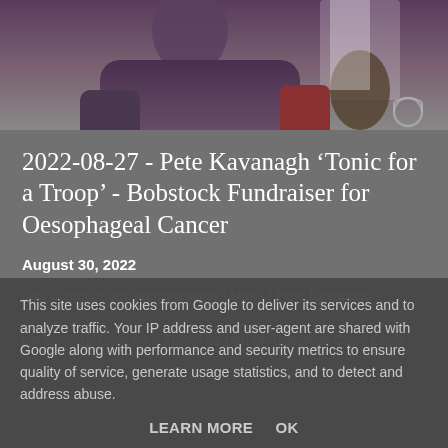[Figure (photo): Partial photo of a person, appearing to show someone seated, with a purple/grey toned background, partially cropped at top]
2022-08-27 - Pete Kavanagh 'Tonic for a Troop' - Bobstock Fundraiser for Oesophageal Cancer
August 30, 2022
Just a simple one camera video I shot of Pete Kavanagh performing 'Tonic for a Troop' as part of Bobstock Cape Clear
This site uses cookies from Google to deliver its services and to analyze traffic. Your IP address and user-agent are shared with Google along with performance and security metrics to ensure quality of service, generate usage statistics, and to detect and address abuse.
LEARN MORE    OK